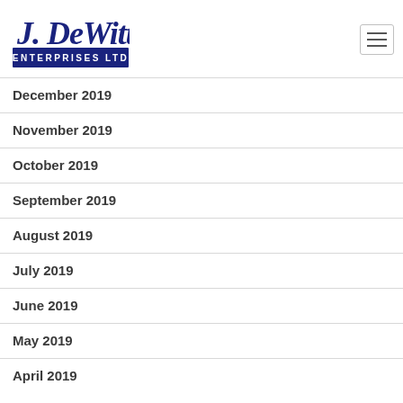[Figure (logo): J. DeWitt Enterprises Ltd logo — blue script 'J. DeWitt' above blue banner with white text 'ENTERPRISES LTD']
December 2019
November 2019
October 2019
September 2019
August 2019
July 2019
June 2019
May 2019
April 2019